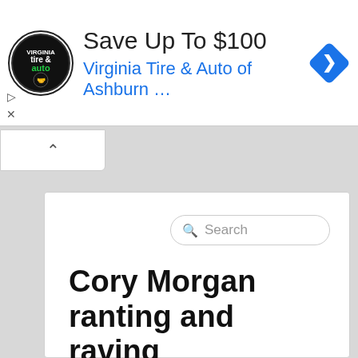[Figure (screenshot): Advertisement banner for Virginia Tire & Auto of Ashburn with logo, save up to $100 headline, and navigation arrow icon]
Cory Morgan ranting and raving
Political and Personal